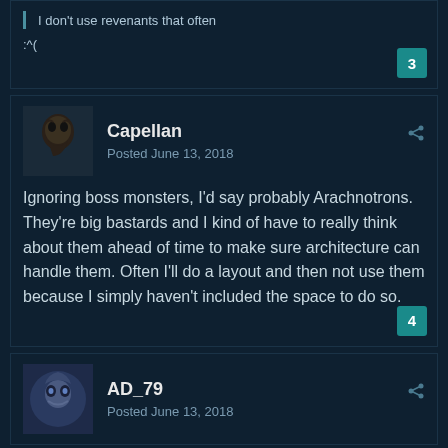I don't use revenants that often
:^(
3
Capellan
Posted June 13, 2018
Ignoring boss monsters, I'd say probably Arachnotrons.  They're big bastards and I kind of have to really think about them ahead of time to make sure architecture can handle them.  Often I'll do a layout and then not use them because I simply haven't included the space to do so.
4
AD_79
Posted June 13, 2018